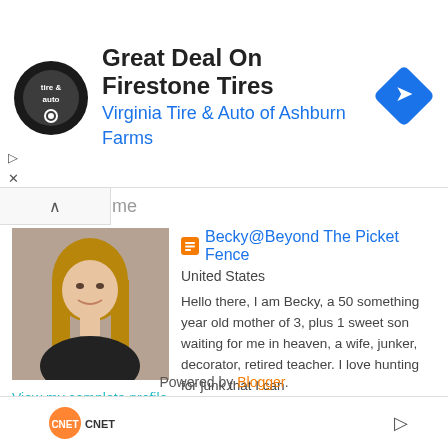[Figure (screenshot): Ad banner: Virginia Tire & Auto of Ashburn Farms advertising Great Deal On Firestone Tires, with circular logo and blue diamond arrow icon]
Becky@Beyond The Picket Fence
United States
[Figure (photo): Profile photo of Becky, a woman with blonde/brown hair smiling]
Hello there, I am Becky, a 50 something year old mother of 3, plus 1 sweet son waiting for me in heaven, a wife, junker, decorator, retired teacher. I love hunting for junk that I can repurpose, build with, or paint on. I live in 1931 schoolhouse that we are busy trying to personalize and renovate. I also love taking advantage of the great outdoors in this beautiful place I live, Montana.
View my complete profile
Powered by Blogger.
[Figure (logo): Bottom bar with logos]